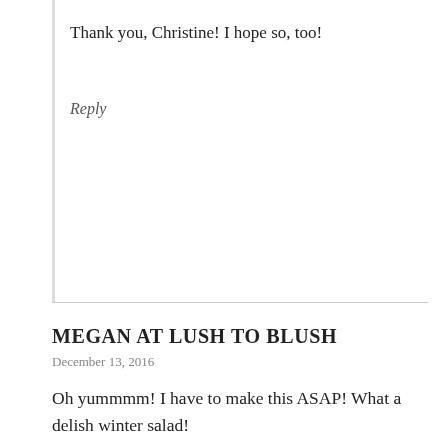Thank you, Christine! I hope so, too!
Reply
MEGAN AT LUSH TO BLUSH
December 13, 2016
Oh yummmm! I have to make this ASAP! What a delish winter salad!
Reply
KATE
December 13, 2016